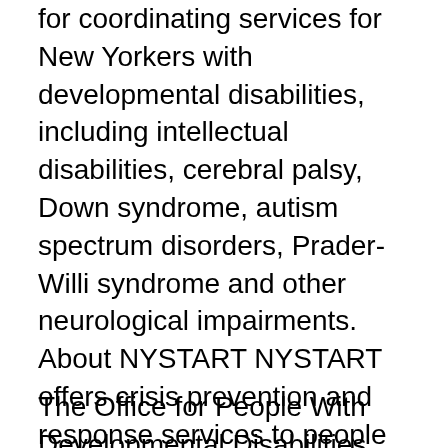for coordinating services for New Yorkers with developmental disabilities, including intellectual disabilities, cerebral palsy, Down syndrome, autism spectrum disorders, Prader-Willi syndrome and other neurological impairments. About NYSTART NYSTART offers crisis prevention and response services to people who have both developmental disabilities and complex behavioral needs, as well as to their families and those who provide supports. Services are available 24 hours a day, 7 days a week to OPWDD eligible individuals age 6 and over who meet NYSTART eligibility. Ages 6 and above. Must be enrolled in Medicaid and eligible for OPWDD services.
The Office for People With Developmental Disabilities (OPWDD) has developed an infrastructure to work with UDD and b...